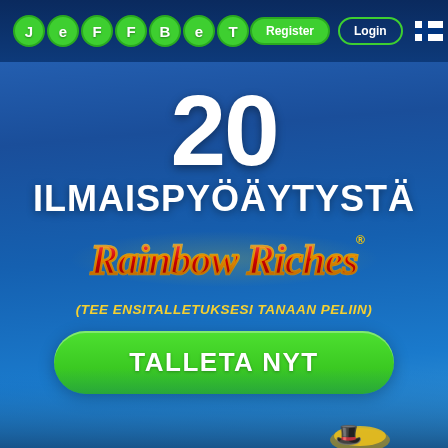[Figure (screenshot): JeffBet casino website screenshot showing a promotional offer of 20 free spins on Rainbow Riches with header navigation and a green call-to-action button]
JeffBet - Register - Login
20 ILMAISPYÖÄYTYSTÄ
[Figure (logo): Rainbow Riches stylized game logo in red and gold with medieval font]
(TEE ENSITALLETUKSESI TANAAN PELIIN)
TALLETA NYT